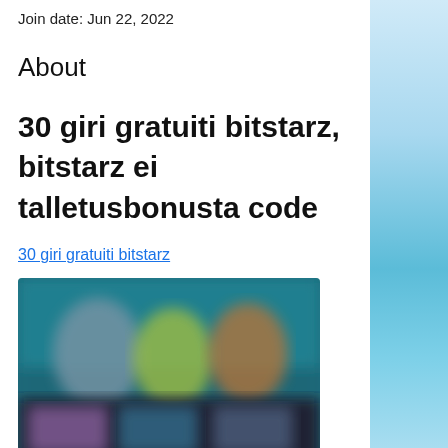Join date: Jun 22, 2022
About
30 giri gratuiti bitstarz, bitstarz ei talletusbonusta code
30 giri gratuiti bitstarz
[Figure (photo): Blurred screenshot of a gaming or casino website interface with colorful characters and thumbnails]